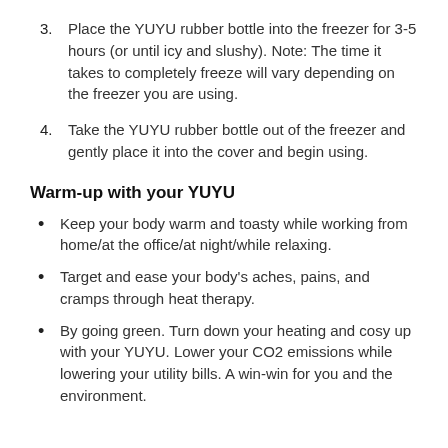3. Place the YUYU rubber bottle into the freezer for 3-5 hours (or until icy and slushy). Note: The time it takes to completely freeze will vary depending on the freezer you are using.
4. Take the YUYU rubber bottle out of the freezer and gently place it into the cover and begin using.
Warm-up with your YUYU
Keep your body warm and toasty while working from home/at the office/at night/while relaxing.
Target and ease your body's aches, pains, and cramps through heat therapy.
By going green. Turn down your heating and cosy up with your YUYU. Lower your CO2 emissions while lowering your utility bills. A win-win for you and the environment.